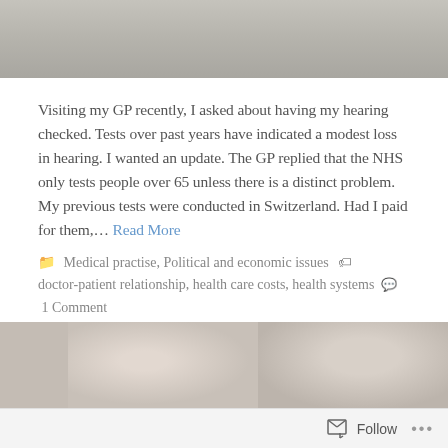[Figure (photo): Partial photo of two people, likely medical professionals, cropped at top of page]
Visiting my GP recently, I asked about having my hearing checked. Tests over past years have indicated a modest loss in hearing. I wanted an update. The GP replied that the NHS only tests people over 65 unless there is a distinct problem. My previous tests were conducted in Switzerland. Had I paid for them,… Read More
Medical practise, Political and economic issues  doctor-patient relationship, health care costs, health systems  1 Comment
MAY 12, 2015 BY PAULRHOLLEY
Too heavy to stay
[Figure (photo): Partial photo at bottom of page showing two people, cropped]
Follow ...